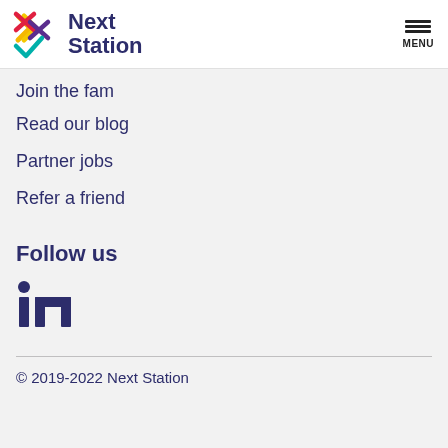Next Station — MENU
Join the fam
Read our blog
Partner jobs
Refer a friend
Follow us
[Figure (logo): LinkedIn logo icon (in)]
© 2019-2022 Next Station